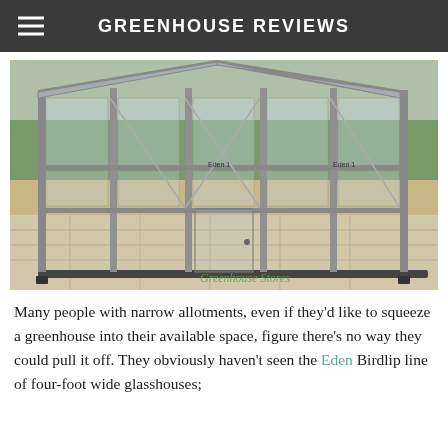GREENHOUSE REVIEWS
[Figure (photo): A transparent aluminum-framed greenhouse kit (Eden Birdlip) partially assembled on a stone patio with a garden in the background. Text watermark reads 'Greenhouse Stores'.]
Many people with narrow allotments, even if they'd like to squeeze a greenhouse into their available space, figure there's no way they could pull it off. They obviously haven't seen the Eden Birdlip line of four-foot wide glasshouses;